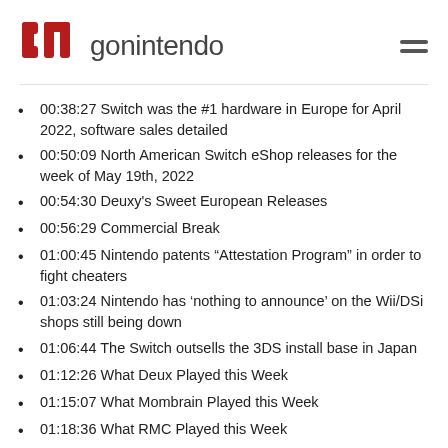gonintendo
00:38:27 Switch was the #1 hardware in Europe for April 2022, software sales detailed
00:50:09 North American Switch eShop releases for the week of May 19th, 2022
00:54:30 Deuxy's Sweet European Releases
00:56:29 Commercial Break
01:00:45 Nintendo patents “Attestation Program” in order to fight cheaters
01:03:24 Nintendo has ‘nothing to announce’ on the Wii/DSi shops still being down
01:06:44 The Switch outsells the 3DS install base in Japan
01:12:26 What Deux Played this Week
01:15:07 What Mombrain Played this Week
01:18:36 What RMC Played this Week